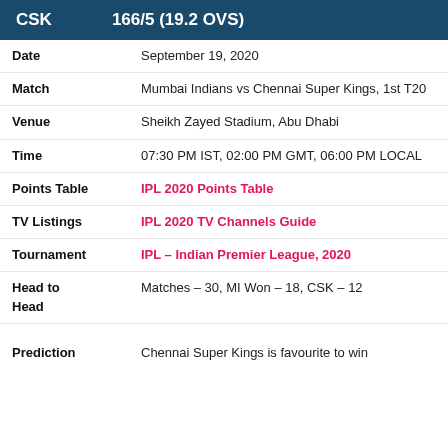CSK 166/5 (19.2 OVS)
| Date | September 19, 2020 |
| Match | Mumbai Indians vs Chennai Super Kings, 1st T20 |
| Venue | Sheikh Zayed Stadium, Abu Dhabi |
| Time | 07:30 PM IST, 02:00 PM GMT, 06:00 PM LOCAL |
| Points Table | IPL 2020 Points Table |
| TV Listings | IPL 2020 TV Channels Guide |
| Tournament | IPL – Indian Premier League, 2020 |
| Head to Head | Matches – 30, MI Won – 18, CSK – 12 |
| Prediction | Chennai Super Kings is favourite to win |